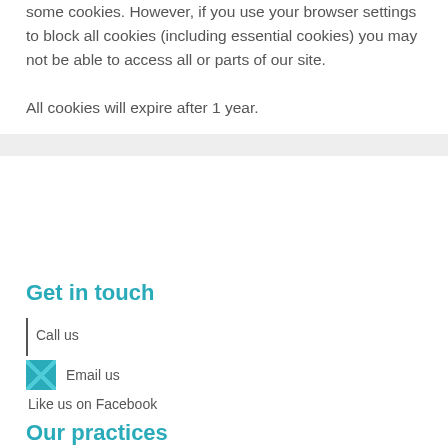some cookies. However, if you use your browser settings to block all cookies (including essential cookies) you may not be able to access all or parts of our site.
All cookies will expire after 1 year.
Get in touch
Call us
Email us
Like us on Facebook
Our practices